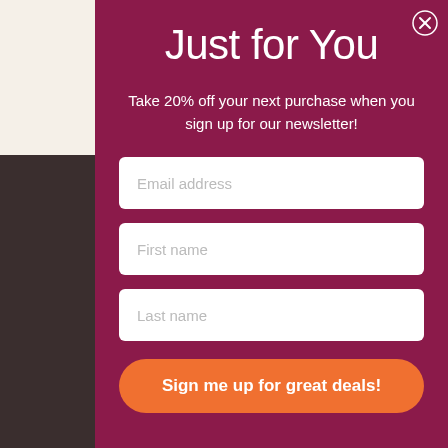Just for You
Take 20% off your next purchase when you sign up for our newsletter!
[Figure (screenshot): Email address input field (white rounded rectangle with placeholder text)]
[Figure (screenshot): First name input field (white rounded rectangle with placeholder text)]
[Figure (screenshot): Last name input field (white rounded rectangle with placeholder text)]
Sign me up for great deals!